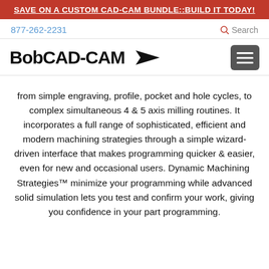SAVE ON A CUSTOM CAD-CAM BUNDLE::BUILD IT TODAY!
877-262-2231   Search
[Figure (logo): BobCAD-CAM logo with arrow/bird icon and hamburger menu button]
from simple engraving, profile, pocket and hole cycles, to complex simultaneous 4 & 5 axis milling routines. It incorporates a full range of sophisticated, efficient and modern machining strategies through a simple wizard-driven interface that makes programming quicker & easier, even for new and occasional users. Dynamic Machining Strategies™ minimize your programming while advanced solid simulation lets you test and confirm your work, giving you confidence in your part programming.